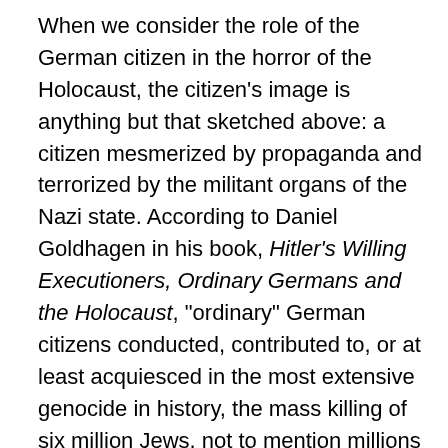When we consider the role of the German citizen in the horror of the Holocaust, the citizen's image is anything but that sketched above: a citizen mesmerized by propaganda and terrorized by the militant organs of the Nazi state. According to Daniel Goldhagen in his book, Hitler's Willing Executioners, Ordinary Germans and the Holocaust, "ordinary" German citizens conducted, contributed to, or at least acquiesced in the most extensive genocide in history, the mass killing of six million Jews, not to mention millions of others considered undesirable.
It is impossible, he maintains, to arrive at precise numbers. Nonetheless, he asserts that “antisemitism moved many thousands of ‘ordinary’ Germans … to slaughter Jews.” Beyond this, “hundreds of thousands of Germans contributed to the genocide and the still larger system of subjugation that was the vast concentration